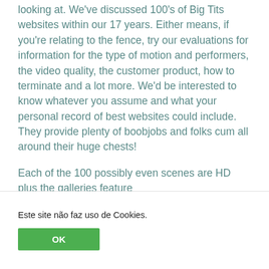looking at. We've discussed 100's of Big Tits websites within our 17 years. Either means, if you're relating to the fence, try our evaluations for information for the type of motion and performers, the video quality, the customer product, how to terminate and a lot more. We'd be interested to know whatever you assume and what your personal record of best websites could include. They provide plenty of boobjobs and folks cum all around their huge chests!
Each of the 100 possibly even scenes are HD plus the galleries feature tophookupdatingsites.net/big-boob-sites/ increased decision images. If you wish to
Este site não faz uso de Cookies.